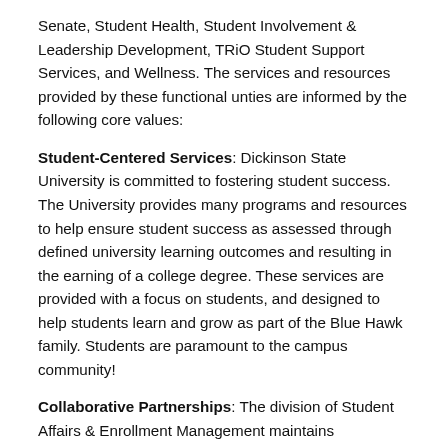Senate, Student Health, Student Involvement & Leadership Development, TRiO Student Support Services, and Wellness. The services and resources provided by these functional unties are informed by the following core values:
Student-Centered Services: Dickinson State University is committed to fostering student success. The University provides many programs and resources to help ensure student success as assessed through defined university learning outcomes and resulting in the earning of a college degree. These services are provided with a focus on students, and designed to help students learn and grow as part of the Blue Hawk family. Students are paramount to the campus community!
Collaborative Partnerships: The division of Student Affairs & Enrollment Management maintains partnerships on and off campus